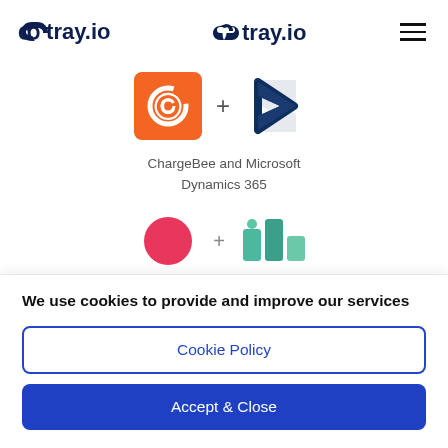tray.io
[Figure (logo): ChargeBee logo (orange square with white C) plus sign and Microsoft Dynamics 365 logo (dark blue geometric arrow shape)]
ChargeBee and Microsoft Dynamics 365
[Figure (logo): Two partially visible logos with a plus sign between them - a pink/red circle logo and a teal/green bar chart logo]
We use cookies to provide and improve our services
Cookie Policy
Accept & Close